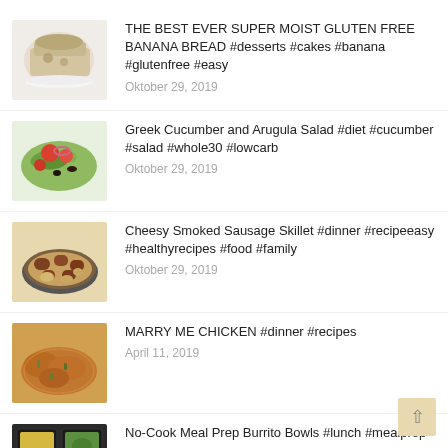THE BEST EVER SUPER MOIST GLUTEN FREE BANANA BREAD #desserts #cakes #banana #glutenfree #easy
Oktober 29, 2019
Greek Cucumber and Arugula Salad #diet #cucumber #salad #whole30 #lowcarb
Oktober 29, 2019
Cheesy Smoked Sausage Skillet #dinner #recipeeasy #healthyrecipes #food #family
Oktober 29, 2019
MARRY ME CHICKEN #dinner #recipes
April 11, 2019
No-Cook Meal Prep Burrito Bowls #lunch #mealprep
Juli 30, 2019